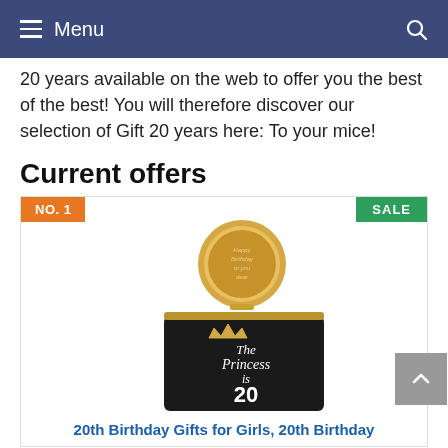Menu
20 years available on the web to offer you the best of the best! You will therefore discover our selection of Gift 20 years here: To your mice!
Current offers
[Figure (photo): Product image showing a gold compact mirror and a black makeup bag printed with 'The Princess is 20' with a crown, with NO. 1 and SALE badges]
20th Birthday Gifts for Girls, 20th Birthday